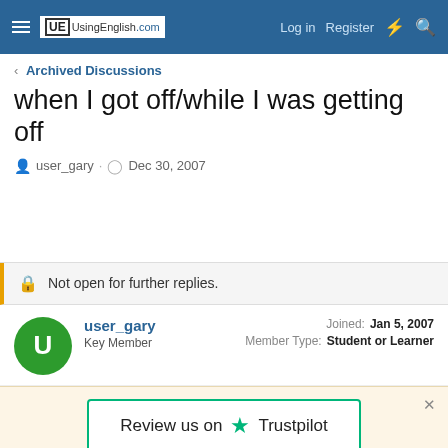UsingEnglish.com — Log in  Register
< Archived Discussions
when I got off/while I was getting off
user_gary · Dec 30, 2007
Not open for further replies.
user_gary
Key Member
Joined: Jan 5, 2007
Member Type: Student or Learner
Review us on Trustpilot